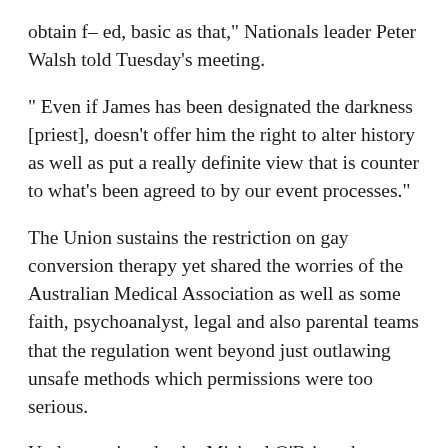obtain f– ed, basic as that,” Nationals leader Peter Walsh told Tuesday’s meeting.
“ Even if James has been designated the darkness [priest], doesn’t offer him the right to alter history as well as put a really definite view that is counter to what’s been agreed to by our event processes.”
The Union sustains the restriction on gay conversion therapy yet shared the worries of the Australian Medical Association as well as some faith, psychoanalyst, legal and also parental teams that the regulation went beyond just outlawing unsafe methods which permissions were too serious.
Under previous leader Michael O’Brien, the resistance promised a number of these teams that if it won next year’s election it would certainly relocate changes to the costs to give moms and